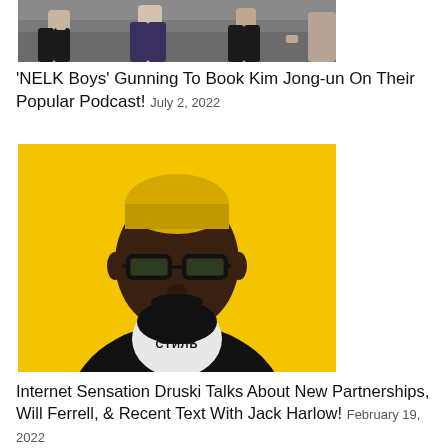[Figure (photo): Cropped photo showing people sitting, partial view of lower bodies on what appears to be bleachers or steps]
'NELK Boys' Gunning To Book Kim Jong-un On Their Popular Podcast! July 2, 2022
[Figure (photo): Photo of internet personality Druski, a Black man with blonde-dyed hair, glasses, and a beard, wearing a black blazer over a white shirt with Cyrillic text 'СТИЛЬ', posed against a yellow background]
Internet Sensation Druski Talks About New Partnerships, Will Ferrell, & Recent Text With Jack Harlow! February 19, 2022